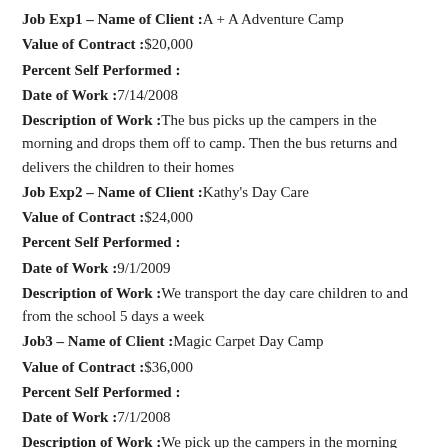Job Exp1 – Name of Client :A + A Adventure Camp
Value of Contract :$20,000
Percent Self Performed :
Date of Work :7/14/2008
Description of Work :The bus picks up the campers in the morning and drops them off to camp. Then the bus returns and delivers the children to their homes
Job Exp2 – Name of Client :Kathy's Day Care
Value of Contract :$24,000
Percent Self Performed :
Date of Work :9/1/2009
Description of Work :We transport the day care children to and from the school 5 days a week
Job3 – Name of Client :Magic Carpet Day Camp
Value of Contract :$36,000
Percent Self Performed :
Date of Work :7/1/2008
Description of Work :We pick up the campers in the morning